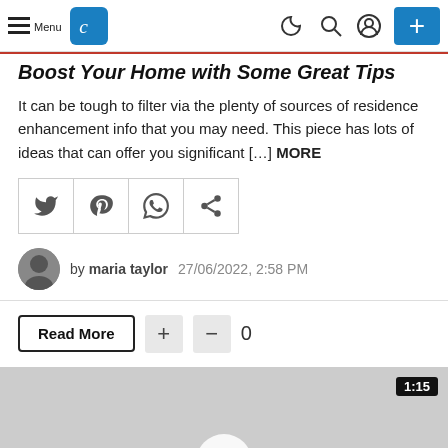Menu | [Logo] | [nav icons] | + button
Boost Your Home with Some Great Tips
It can be tough to filter via the plenty of sources of residence enhancement info that you may need. This piece has lots of ideas that can offer you significant [...] MORE
[Figure (other): Social share buttons: Twitter, Pinterest, WhatsApp, Share]
by maria taylor  27/06/2022, 2:58 PM
Read More + − 0
[Figure (other): Video thumbnail with play button and duration 1:15]